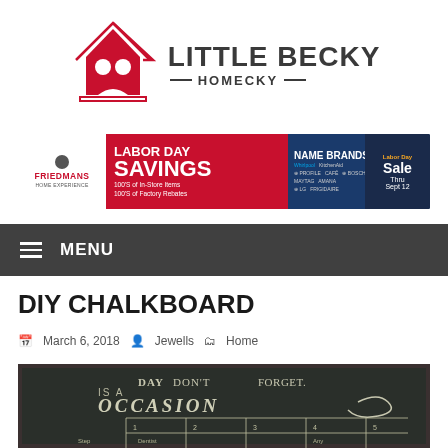[Figure (logo): Little Becky Homecky logo with red house icon and text]
[Figure (infographic): Friedmans Home Experience Labor Day Savings advertisement banner with name brands including Whirlpool, KitchenAid, Bosch, Maytag, Amana, LG, Frigidaire. Labor Day Sale Thru Sept 12.]
MENU
DIY CHALKBOARD
March 6, 2018  Jewells  Home
[Figure (photo): Photo of a chalkboard with calendar grid and text reading EVERY DAY IS A SPECIAL OCCASION written in chalk]